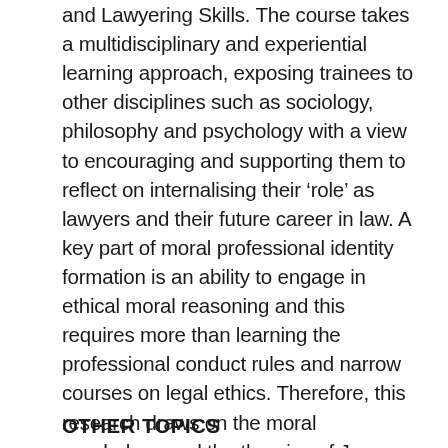and Lawyering Skills. The course takes a multidisciplinary and experiential learning approach, exposing trainees to other disciplines such as sociology, philosophy and psychology with a view to encouraging and supporting them to reflect on internalising their 'role' as lawyers and their future career in law. A key part of moral professional identity formation is an ability to engage in ethical moral reasoning and this requires more than learning the professional conduct rules and narrow courses on legal ethics. Therefore, this research draws on the moral psychology and the theories of James Rest and the 'Defining Issues Test' and the work of Muriel Bebeau arising from the 'Four Component Model' to frame the teaching of legal ethics and professional values for trainees.
OTHER TOPICS